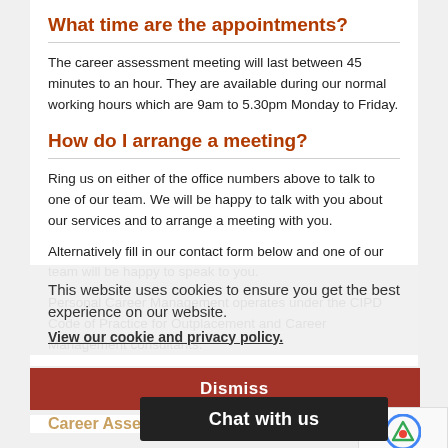What time are the appointments?
The career assessment meeting will last between 45 minutes to an hour. They are available during our normal working hours which are 9am to 5.30pm Monday to Friday.
How do I arrange a meeting?
Ring us on either of the office numbers above to talk to one of our team. We will be happy to talk with you about our services and to arrange a meeting with you.
Alternatively fill in our contact form below and one of our team will be happy to speak to you.
Personal Career Management operates under the CIPD Code of Practice for Outplacement and Career Management consultants.
This website uses cookies to ensure you get the best experience on our website.
View our cookie and privacy policy.
Dismiss
Chat with us
Career Asse